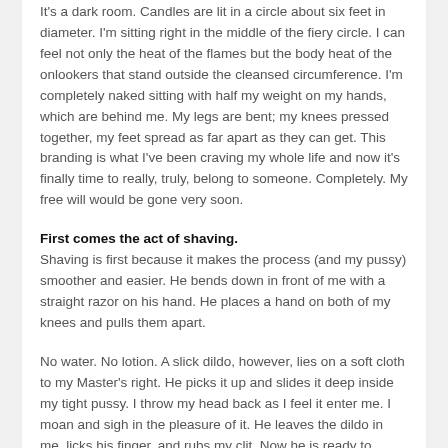It's a dark room. Candles are lit in a circle about six feet in diameter. I'm sitting right in the middle of the fiery circle. I can feel not only the heat of the flames but the body heat of the onlookers that stand outside the cleansed circumference. I'm completely naked sitting with half my weight on my hands, which are behind me. My legs are bent; my knees pressed together, my feet spread as far apart as they can get. This branding is what I've been craving my whole life and now it's finally time to really, truly, belong to someone. Completely. My free will would be gone very soon.
First comes the act of shaving. Shaving is first because it makes the process (and my pussy) smoother and easier. He bends down in front of me with a straight razor on his hand. He places a hand on both of my knees and pulls them apart.
No water. No lotion. A slick dildo, however, lies on a soft cloth to my Master's right. He picks it up and slides it deep inside my tight pussy. I throw my head back as I feel it enter me. I moan and sigh in the pleasure of it. He leaves the dildo in me, licks his finger, and rubs my clit. Now he is ready to begin shaving my pussy. As he works I feel the razor and I can see my lips and skin turning red. The pain isn't great and the pleasure outweighs it. But when he's done my pussy is silky smooth and ready for his brand.